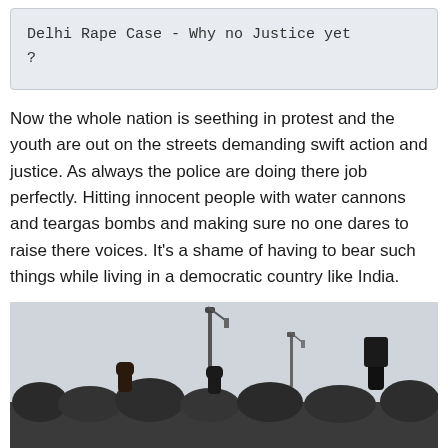Delhi Rape Case - Why no Justice yet ?
Now the whole nation is seething in protest and the youth are out on the streets demanding swift action and justice. As always the police are doing there job perfectly. Hitting innocent people with water cannons and teargas bombs and making sure no one dares to raise there voices. It's a shame of having to bear such things while living in a democratic country like India.
[Figure (photo): A crowd of protesters with raised fists outdoors, street lamps visible in a hazy sky background.]